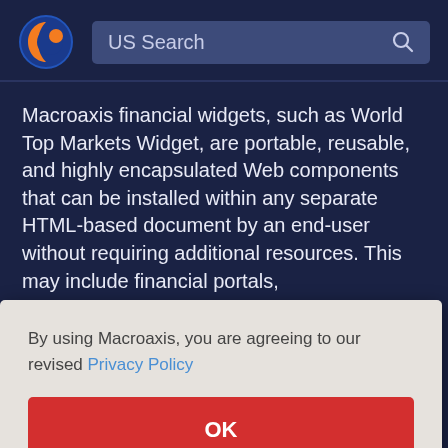[Figure (logo): Macroaxis logo: orange and blue circular globe icon]
US Search
Macroaxis financial widgets, such as World Top Markets Widget, are portable, reusable, and highly encapsulated Web components that can be installed within any separate HTML-based document by an end-user without requiring additional resources. This may include financial portals, ...onal ...re used ...ng ...ges, ...e you to display charts, tickers, info panels and heat-maps for
By using Macroaxis, you are agreeing to our revised Privacy Policy
OK